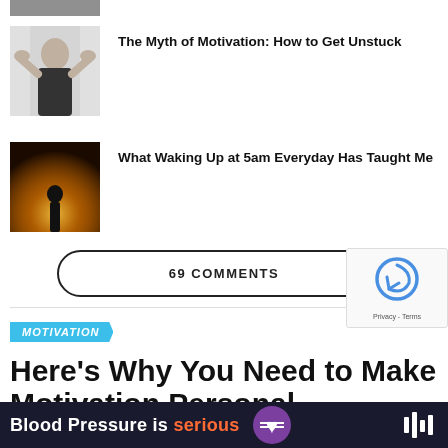[Figure (photo): Partially cropped photo at top]
The Myth of Motivation: How to Get Unstuck
[Figure (photo): Person standing in field at sunset, silhouette]
What Waking Up at 5am Everyday Has Taught Me
69 COMMENTS
MOTIVATION
Here's Why You Need to Make Motivation Personal
[Figure (infographic): Blood Pressure is serious advertisement banner]